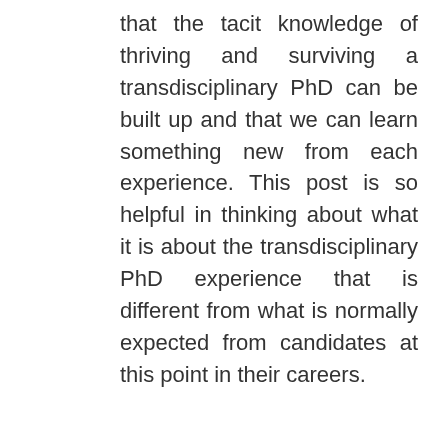that the tacit knowledge of thriving and surviving a transdisciplinary PhD can be built up and that we can learn something new from each experience. This post is so helpful in thinking about what it is about the transdisciplinary PhD experience that is different from what is normally expected from candidates at this point in their careers.
Reply
denafam
March 22, 2018 at 6:01 pm